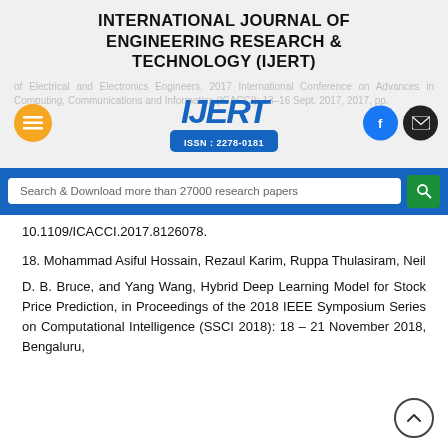INTERNATIONAL JOURNAL OF ENGINEERING RESEARCH & TECHNOLOGY (IJERT)
[Figure (logo): IJERT logo with ISSN: 2278-0181, faded background text about IEEE conference, orange menu button, Facebook and email social buttons]
Search & Download more than 27000 research papers
10.1109/ICACCI.2017.8126078.
18. Mohammad Asiful Hossain, Rezaul Karim, Ruppa Thulasiram, Neil
D. B. Bruce, and Yang Wang, Hybrid Deep Learning Model for Stock Price Prediction, in Proceedings of the 2018 IEEE Symposium Series on Computational Intelligence (SSCI 2018): 18 – 21 November 2018, Bengaluru,